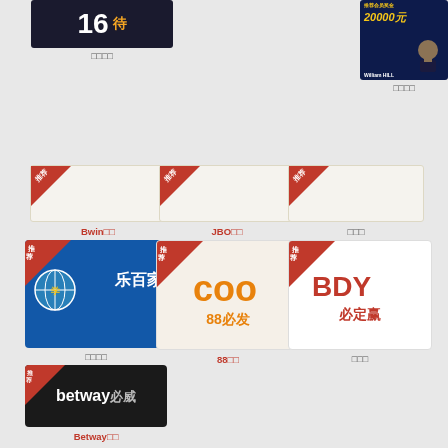[Figure (logo): Partial view of a dark gaming/betting site banner with number]
□□□□
[Figure (photo): William Hill promotional banner with 20000元 prize and person in tuxedo]
□□□□
[Figure (logo): Bwin betting site logo card with 推荐 badge]
Bwin□□
[Figure (logo): JBO betting site logo card with 推荐 badge]
JBO□□
[Figure (logo): Third betting site logo card with 推荐 badge]
□□□
[Figure (logo): 乐百家 logo - blue card with globe and Chinese text with 推荐 badge]
□□□□
[Figure (logo): 88必发 logo - white card with orange COO symbol and Chinese text with 推荐 badge]
88□□
[Figure (logo): 必定赢 logo - white card with BDY symbol and Chinese text with 推荐 badge]
□□□
[Figure (logo): Betway必威 logo - dark card with Betway branding and Chinese text with 推荐 badge]
Betway□□